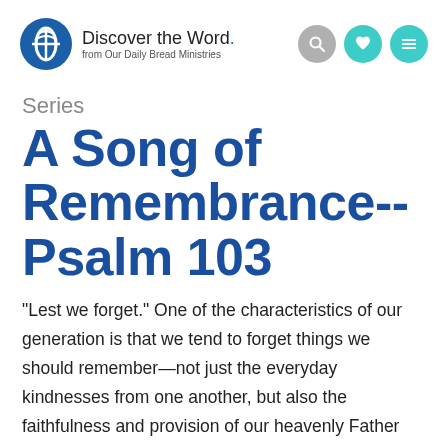Discover the Word. from Our Daily Bread Ministries
Series
A Song of Remembrance-- Psalm 103
"Lest we forget." One of the characteristics of our generation is that we tend to forget things we should remember—not just the everyday kindnesses from one another, but also the faithfulness and provision of our heavenly Father